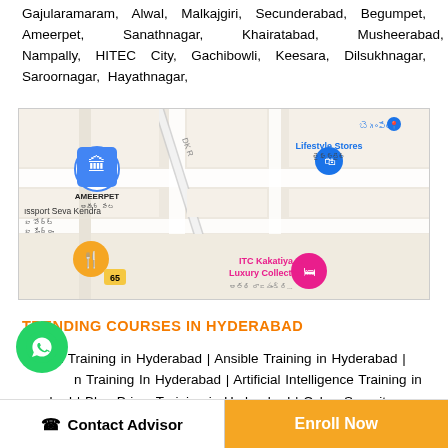Gajularamaram, Alwal, Malkajgiri, Secunderabad, Begumpet, Ameerpet, Sanathnagar, Khairatabad, Musheerabad, Nampally, HITEC City, Gachibowli, Keesara, Dilsukhnagar, Saroornagar, Hayathnagar,
[Figure (map): Google Maps view centered around Ameerpet, Hyderabad, showing landmarks: Lifestyle Stores, Passport Seva Kendra, ITC Kakatiya a Luxury Collection, and various roads]
TRENDING COURSES IN HYDERABAD
Alteryx Training in Hyderabad | Ansible Training in Hyderabad | ...n Training In Hyderabad | Artificial Intelligence Training in ...erabad | Blue Prism Training in Hyderabad | Cyber Security Training in Hyderabad | CyberArk Training In Hyderabad | Data...
Contact Advisor   Enroll Now